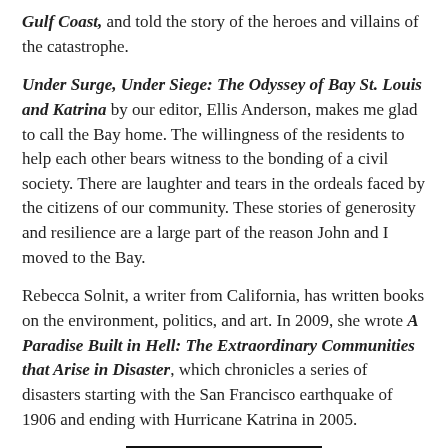Gulf Coast, and told the story of the heroes and villains of the catastrophe.
Under Surge, Under Siege: The Odyssey of Bay St. Louis and Katrina by our editor, Ellis Anderson, makes me glad to call the Bay home. The willingness of the residents to help each other bears witness to the bonding of a civil society. There are laughter and tears in the ordeals faced by the citizens of our community. These stories of generosity and resilience are a large part of the reason John and I moved to the Bay.
Rebecca Solnit, a writer from California, has written books on the environment, politics, and art. In 2009, she wrote A Paradise Built in Hell: The Extraordinary Communities that Arise in Disaster, which chronicles a series of disasters starting with the San Francisco earthquake of 1906 and ending with Hurricane Katrina in 2005.
[Figure (illustration): Book cover image showing a teal/turquoise background with a circular design containing a red fish or wave symbol on a cream background, with a black border.]